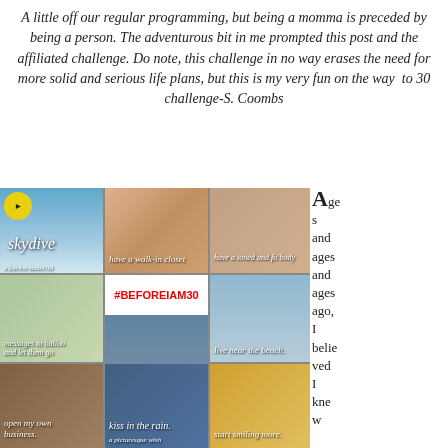A little off our regular programming, but being a momma is preceded by being a person. The adventurous bit in me prompted this post and the affiliated challenge. Do note, this challenge in no way erases the need for more solid and serious life plans, but this is my very fun on the way to 30 challenge-S. Coombs
[Figure (photo): Collage of bucket list images with text overlays including: skydive, have a walk-in closet, have a toned and fit body, messages to balloons and let them go, #BEFOREIAM30, take my mom on the vacation of her dreams, live near the beach, open my own business, kiss in the rain, start smiling more, stop being so afraid, get in a taxi and yell...]
Ages and ages and ages ago, I believed I knew...